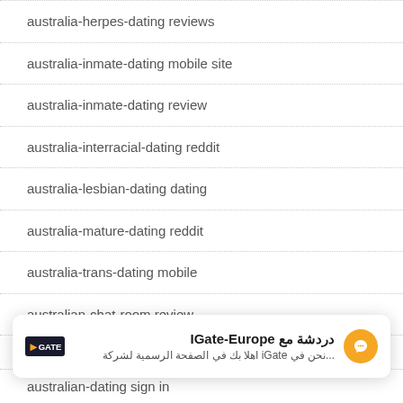australia-herpes-dating reviews
australia-inmate-dating mobile site
australia-inmate-dating review
australia-interracial-dating reddit
australia-lesbian-dating dating
australia-mature-dating reddit
australia-trans-dating mobile
australian-chat-room review
[Figure (other): iGate-Europe chat widget with messenger icon and Arabic subtitle text]
australian-dating sign in